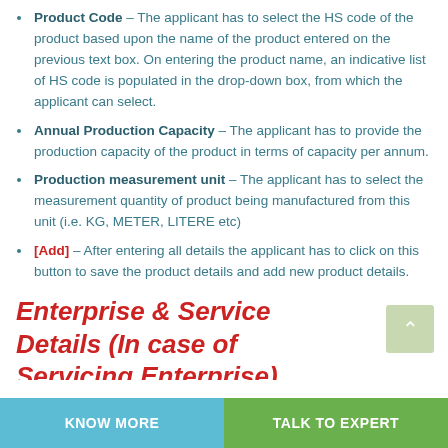Product Code – The applicant has to select the HS code of the product based upon the name of the product entered on the previous text box. On entering the product name, an indicative list of HS code is populated in the drop-down box, from which the applicant can select.
Annual Production Capacity – The applicant has to provide the production capacity of the product in terms of capacity per annum.
Production measurement unit – The applicant has to select the measurement quantity of product being manufactured from this unit (i.e. KG, METER, LITERE etc)
[Add] – After entering all details the applicant has to click on this button to save the product details and add new product details.
Enterprise & Service Details (In case of Servicing Enterprise)
Enterprise Address – The applicant has to mention here
KNOW MORE   TALK TO EXPERT